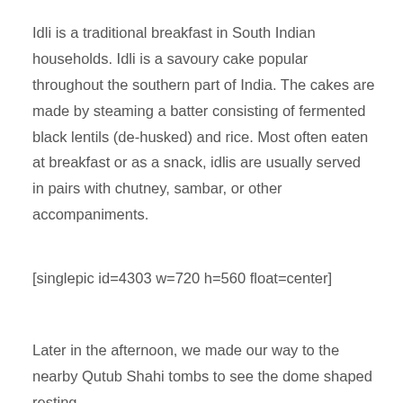Idli is a traditional breakfast in South Indian households. Idli is a savoury cake popular throughout the southern part of India. The cakes are made by steaming a batter consisting of fermented black lentils (de-husked) and rice. Most often eaten at breakfast or as a snack, idlis are usually served in pairs with chutney, sambar, or other accompaniments.
[singlepic id=4303 w=720 h=560 float=center]
Later in the afternoon, we made our way to the nearby Qutub Shahi tombs to see the dome shaped resting